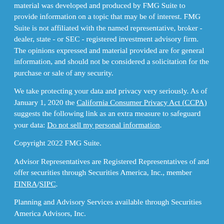material was developed and produced by FMG Suite to provide information on a topic that may be of interest. FMG Suite is not affiliated with the named representative, broker - dealer, state - or SEC - registered investment advisory firm. The opinions expressed and material provided are for general information, and should not be considered a solicitation for the purchase or sale of any security.
We take protecting your data and privacy very seriously. As of January 1, 2020 the California Consumer Privacy Act (CCPA) suggests the following link as an extra measure to safeguard your data: Do not sell my personal information.
Copyright 2022 FMG Suite.
Advisor Representatives are Registered Representatives of and offer securities through Securities America, Inc., member FINRA/SIPC.
Planning and Advisory Services available through Securities America Advisors, Inc.
Navigation Financial Group and its affiliates are